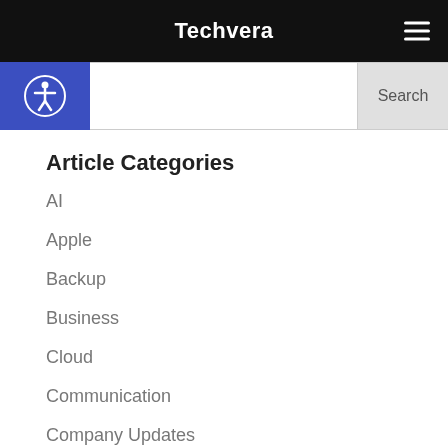Techvera
Article Categories
AI
Apple
Backup
Business
Cloud
Communication
Company Updates
Computers
Construction
Continuity